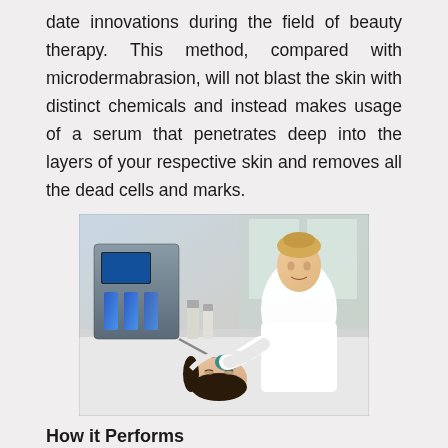date innovations during the field of beauty therapy. This method, compared with microdermabrasion, will not blast the skin with distinct chemicals and instead makes usage of a serum that penetrates deep into the layers of your respective skin and removes all the dead cells and marks.
[Figure (photo): A beauty therapist in white uniform performing a HydraFacial treatment on a patient lying down, with a blue-lit hydrafacial machine visible in the background along with product bottles.]
How it Performs
The HydraFacial™ treatment method is often a